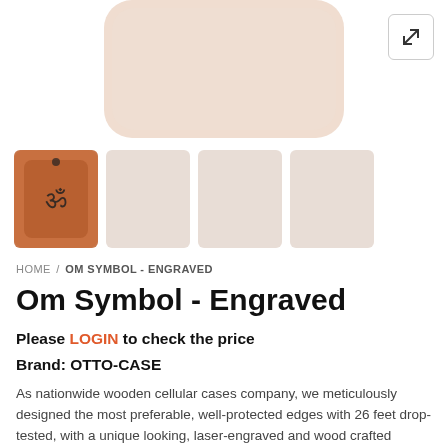[Figure (photo): Main product image - light wood/beige rounded rectangle phone case]
[Figure (photo): Thumbnail 1 - brown wooden phone case with Om symbol engraved]
[Figure (photo): Thumbnail 2 - blank light colored phone case]
[Figure (photo): Thumbnail 3 - blank light colored phone case]
[Figure (photo): Thumbnail 4 - blank light colored phone case]
HOME / OM SYMBOL - ENGRAVED
Om Symbol - Engraved
Please LOGIN to check the price
Brand: OTTO-CASE
As nationwide wooden cellular cases company, we meticulously designed the most preferable, well-protected edges with 26 feet drop-tested, with a unique looking, laser-engraved and wood crafted iPhone & Samsung phone models; our phone cases have been such great visionary in today’s expanding and innovative cellular market.